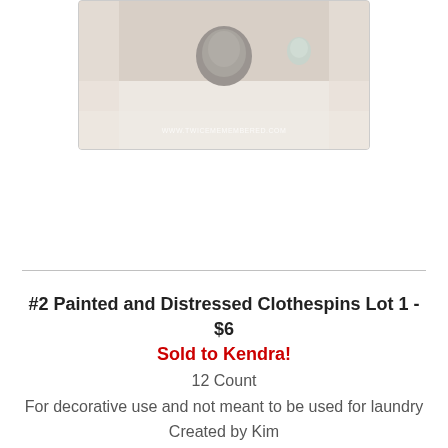[Figure (photo): Top portion of a product photo showing decorative items on a white textured surface, with watermark www.twicememembered.com]
#2 Painted and Distressed Clothespins Lot 1 - $6
Sold to Kendra!
12 Count
For decorative use and not meant to be used for laundry
Created by Kim
[Figure (photo): Photo of painted and distressed clothespins in various colors (red, pink, teal, yellow, brown) piled together on a white textured surface]